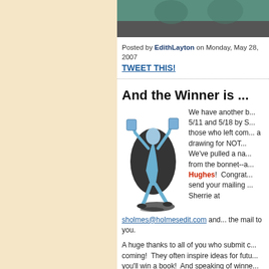[Figure (photo): Photo of people sitting, partially cropped at top]
Posted by EdithLayton on Monday, May 28, 2007
TWEET THIS!
And the Winner is ...
[Figure (illustration): Animated illustration of a person running and holding books in the air, in blue tones with a dark oval shadow]
We have another b... 5/11 and 5/18 by S... those who left com... a drawing for NOT...  We've pulled a na... from the bonnet--a... Hughes!  Congrat... send your mailing ... Sherrie at sholmes@holmesedit.com and... the mail to you.

A huge thanks to all of you who submit c... coming!  They often inspire ideas for futu... you'll win a book!  And speaking of winne... winners in the post below, to see if your n...
Posted by Laura on Sunday, May 27, 2007 at 11:0...
TWEET THIS!